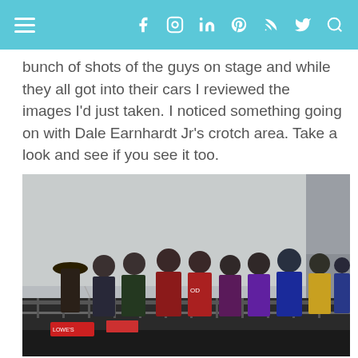Navigation bar with hamburger menu and social icons (Facebook, Instagram, LinkedIn, Pinterest, RSS, Twitter, Search)
bunch of shots of the guys on stage and while they all got into their cars I reviewed the images I’d just taken. I noticed something going on with Dale Earnhardt Jr’s crotch area. Take a look and see if you see it too.
[Figure (photo): Group of NASCAR drivers in racing suits standing on a stage/platform with metal railing, overcast sky in background, a man in a cowboy hat on the left with a microphone]